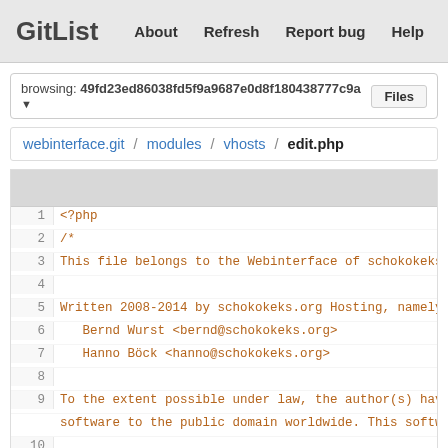GitList   About   Refresh   Report bug   Help
browsing: 49fd23ed86038fd5f9a9687e0d8f180438777c9a   Files
webinterface.git / modules / vhosts / edit.php
[Figure (screenshot): Code viewer showing PHP file content with line numbers 1-14. Lines show PHP file header with copyright notice for schokokeks.org Webinterface, written 2008-2014.]